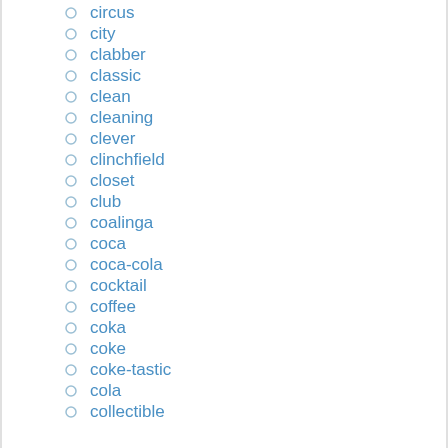circus
city
clabber
classic
clean
cleaning
clever
clinchfield
closet
club
coalinga
coca
coca-cola
cocktail
coffee
coka
coke
coke-tastic
cola
collectible